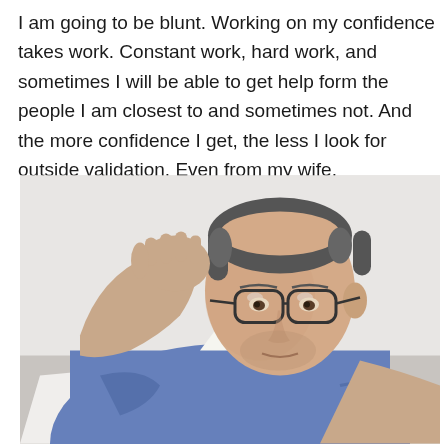I am going to be blunt. Working on my confidence takes work. Constant work, hard work, and sometimes I will be able to get help form the people I am closest to and sometimes not. And the more confidence I get, the less I look for outside validation. Even from my wife.
[Figure (photo): A middle-aged man wearing glasses and a blue button-up shirt, sitting at a desk with a laptop, resting his head on his hand with a contemplative or stressed expression, against a light gray/white background.]